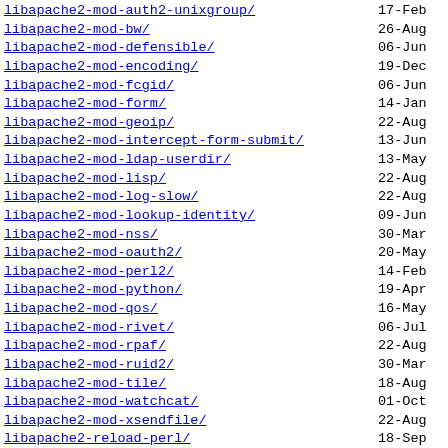libapache2-mod-auth2-unixgroup/
libapache2-mod-bw/
libapache2-mod-defensible/
libapache2-mod-encoding/
libapache2-mod-fcgid/
libapache2-mod-form/
libapache2-mod-geoip/
libapache2-mod-intercept-form-submit/
libapache2-mod-ldap-userdir/
libapache2-mod-lisp/
libapache2-mod-log-slow/
libapache2-mod-lookup-identity/
libapache2-mod-nss/
libapache2-mod-oauth2/
libapache2-mod-perl2/
libapache2-mod-python/
libapache2-mod-qos/
libapache2-mod-rivet/
libapache2-mod-rpaf/
libapache2-mod-ruid2/
libapache2-mod-tile/
libapache2-mod-watchcat/
libapache2-mod-xsendfile/
libapache2-reload-perl/
libapache2-sitecontrol-perl/
libaperture-0/
libapfloat-java/
libapi-gitforge-perl/
libapogee3/
libapp-cache-perl/
libapp-call-perl/